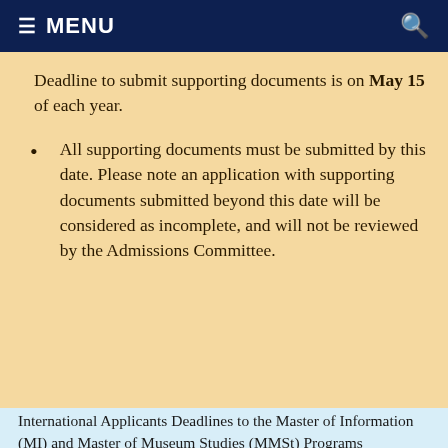MENU
Deadline to submit supporting documents is on May 15 of each year.
All supporting documents must be submitted by this date. Please note an application with supporting documents submitted beyond this date will be considered as incomplete, and will not be reviewed by the Admissions Committee.
International Applicants Deadlines to the Master of Information (MI) and Master of Museum Studies (MMSt) Programs